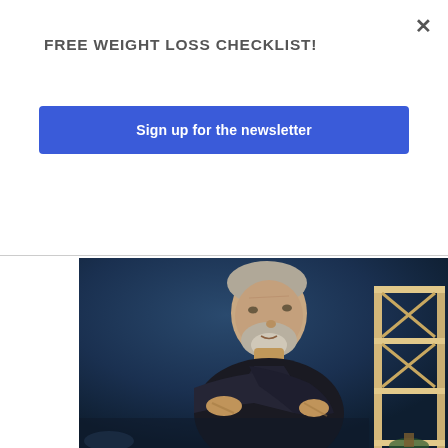FREE WEIGHT LOSS CHECKLIST!
Sign up for the newsletter
[Figure (photo): Middle-aged man with gray beard wearing a dark jacket, clutching his shoulder/chest area with both hands, looking upward with a concerned expression. Dark blue background with a wooden shelf visible on the right side.]